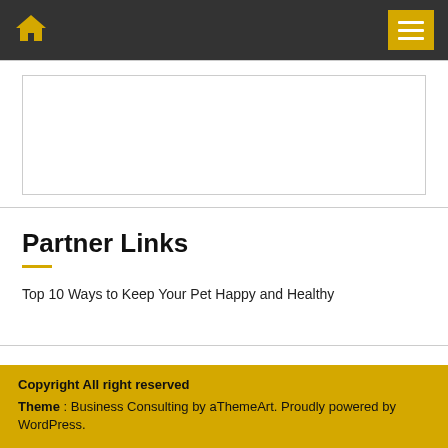Home icon and menu navigation bar
[Figure (other): Empty advertisement or content placeholder box with light border]
Partner Links
Top 10 Ways to Keep Your Pet Happy and Healthy
Copyright All right reserved
Theme : Business Consulting by aThemeArt. Proudly powered by WordPress.